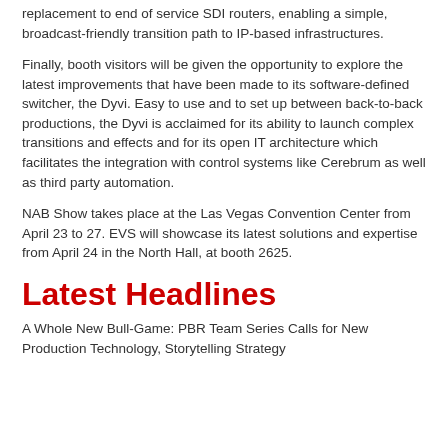replacement to end of service SDI routers, enabling a simple, broadcast-friendly transition path to IP-based infrastructures.
Finally, booth visitors will be given the opportunity to explore the latest improvements that have been made to its software-defined switcher, the Dyvi. Easy to use and to set up between back-to-back productions, the Dyvi is acclaimed for its ability to launch complex transitions and effects and for its open IT architecture which facilitates the integration with control systems like Cerebrum as well as third party automation.
NAB Show takes place at the Las Vegas Convention Center from April 23 to 27. EVS will showcase its latest solutions and expertise from April 24 in the North Hall, at booth 2625.
Latest Headlines
A Whole New Bull-Game: PBR Team Series Calls for New Production Technology, Storytelling Strategy